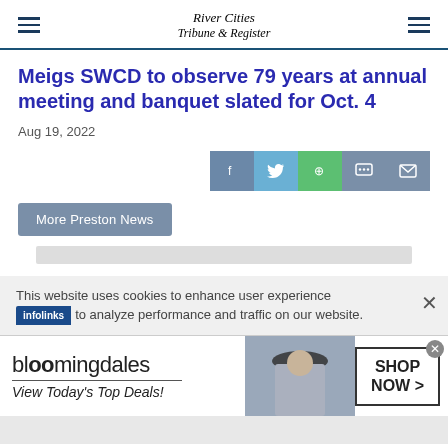River Cities Tribune & Register
Meigs SWCD to observe 79 years at annual meeting and banquet slated for Oct. 4
Aug 19, 2022
[Figure (infographic): Social share buttons: Facebook (blue-gray), Twitter (light blue), WhatsApp (green), Message (gray-blue), Email (gray-blue)]
More Preston News
This website uses cookies to enhance user experience to analyze performance and traffic on our website.
[Figure (infographic): Bloomingdale's advertisement banner with logo, 'View Today's Top Deals!' text, fashion photo, and 'SHOP NOW >' button. Infolinks badge shown.]